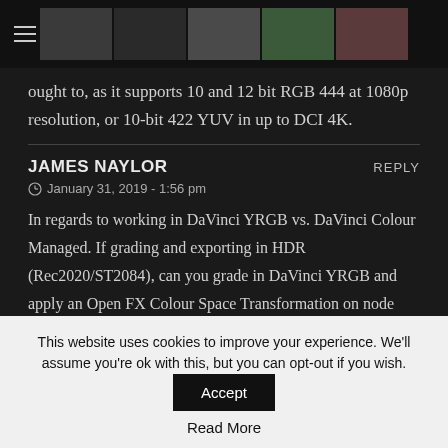Navigation header with hamburger menu and thumbnail images
ought to, as it supports 10 and 12 bit RGB 444 at 1080p resolution, or 10-bit 422 YUV in up to DCI 4K.
JAMES NAYLOR
January 31, 2019 - 1:56 pm
In regards to working in DaVinci YRGB vs. DaVinci Colour Managed. If grading and exporting in HDR (Rec2020/ST2084), can you grade in DaVinci YRGB and apply an Open FX Colour Space Transformation on node one and still achieve the same look and information as DaVinci Colour Managed if it were set to the same
This website uses cookies to improve your experience. We'll assume you're ok with this, but you can opt-out if you wish. Read More